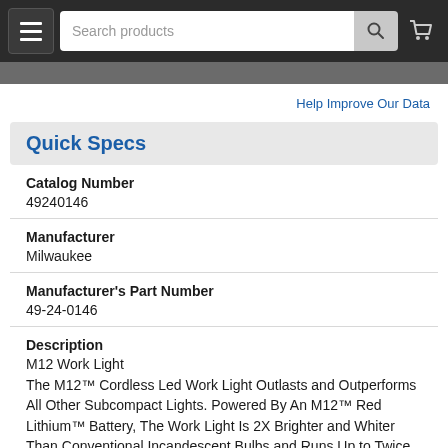Search products [search bar] [cart]
Help Improve Our Data
Quick Specs
Catalog Number
49240146
Manufacturer
Milwaukee
Manufacturer's Part Number
49-24-0146
Description
M12 Work Light
The M12™ Cordless Led Work Light Outlasts and Outperforms All Other Subcompact Lights. Powered By An M12™ Red Lithium™ Battery, The Work Light Is 2X Brighter and Whiter Than Conventional Incandescent Bulbs and Runs Up to Twice As Long. With A Sealed Aluminum Head to Pr